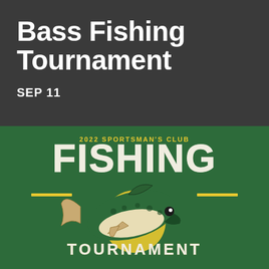Bass Fishing Tournament
SEP 11
[Figure (illustration): 2022 Sportsman's Club Fishing Tournament logo on dark green background. Features large distressed text 'FISHING' at top, a jumping bass fish illustration in the center with green and yellow coloring, yellow semicircle behind the fish, and 'TOURNAMENT' text in distressed style below the fish. Above 'FISHING' text reads '2022 SPORTSMAN'S CLUB' in yellow. Yellow horizontal accent lines flank the fish on both sides.]